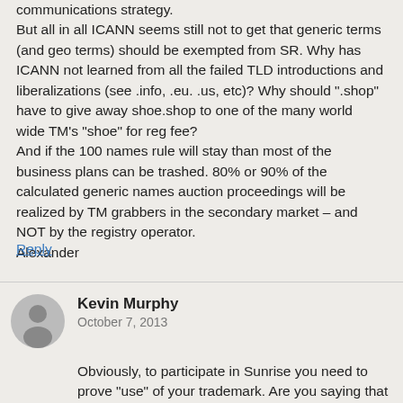communications strategy.
But all in all ICANN seems still not to get that generic terms (and geo terms) should be exempted from SR. Why has ICANN not learned from all the failed TLD introductions and liberalizations (see .info, .eu. .us, etc)? Why should ".shop" have to give away shoe.shop to one of the many world wide TM's "shoe" for reg fee?
And if the 100 names rule will stay than most of the business plans can be trashed. 80% or 90% of the calculated generic names auction proceedings will be realized by TM grabbers in the secondary market – and NOT by the registry operator.
Alexander
Reply
Kevin Murphy
October 7, 2013
Obviously, to participate in Sunrise you need to prove "use" of your trademark. Are you saying that this test can be gamed?